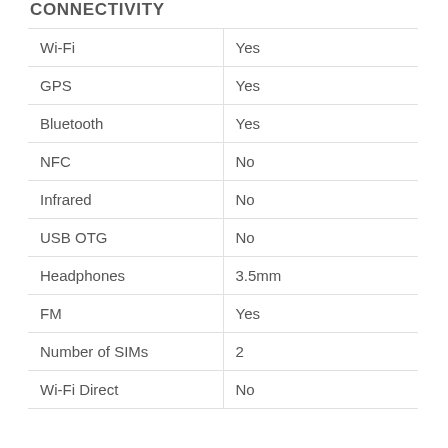CONNECTIVITY
| Wi-Fi | Yes |
| GPS | Yes |
| Bluetooth | Yes |
| NFC | No |
| Infrared | No |
| USB OTG | No |
| Headphones | 3.5mm |
| FM | Yes |
| Number of SIMs | 2 |
| Wi-Fi Direct | No |